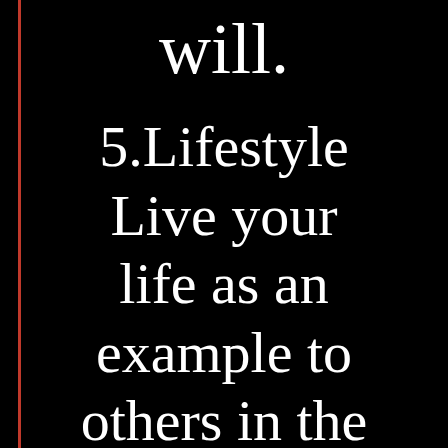will.
5.Lifestyle
Live your life as an example to others in the community.